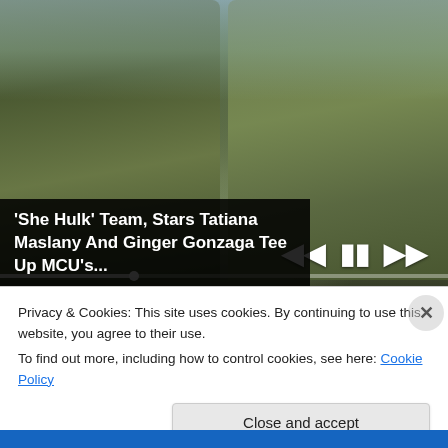[Figure (screenshot): Video player showing two green-skinned Hulk characters (She-Hulk and Hulk) facing each other with hands raised in a jungle/outdoor setting. Video controls (previous, pause, next) visible in bottom right. Progress bar at bottom.]
'She Hulk' Team, Stars Tatiana Maslany And Ginger Gonzaga Tee Up MCU's...
Privacy & Cookies: This site uses cookies. By continuing to use this website, you agree to their use.
To find out more, including how to control cookies, see here: Cookie Policy
Close and accept